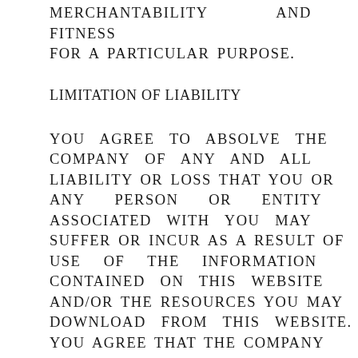MERCHANTABILITY AND FITNESS FOR A PARTICULAR PURPOSE.
LIMITATION OF LIABILITY
YOU AGREE TO ABSOLVE THE COMPANY OF ANY AND ALL LIABILITY OR LOSS THAT YOU OR ANY PERSON OR ENTITY ASSOCIATED WITH YOU MAY SUFFER OR INCUR AS A RESULT OF USE OF THE INFORMATION CONTAINED ON THIS WEBSITE AND/OR THE RESOURCES YOU MAY DOWNLOAD FROM THIS WEBSITE. YOU AGREE THAT THE COMPANY